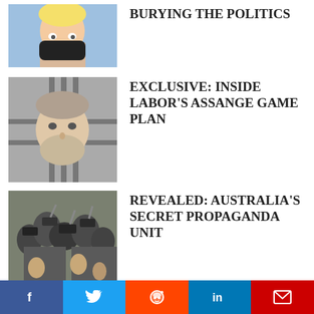[Figure (photo): Person with blonde hair wearing a black face mask against a blue background]
BURYING THE POLITICS
[Figure (photo): Man with grey beard behind metal bars or grating, close-up portrait]
EXCLUSIVE: INSIDE LABOR'S ASSANGE GAME PLAN
[Figure (photo): Crowd of people with cameras and microphones, media scrum]
REVEALED: AUSTRALIA'S SECRET PROPAGANDA UNIT
[Figure (photo): Israeli flag and Palestinian flag waving over rocky terrain]
DESPERATE MEASURES
[Figure (photo): Crowd of people in red holding protest signs]
DEMOCRACY IN DANGER
f | Twitter | Reddit | in | Email